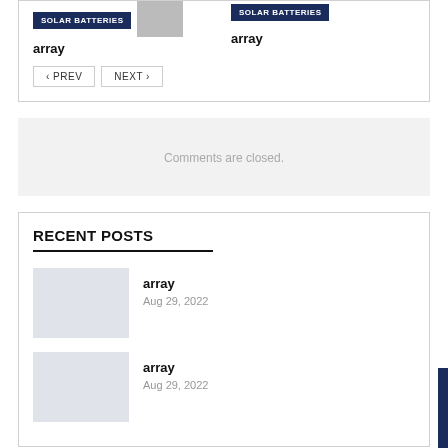[Figure (screenshot): Two card items each with SOLAR BATTERIES badge, one with a person photo thumbnail, and bold text 'array' below]
array
array
‹ PREV
NEXT ›
Comments are closed.
RECENT POSTS
[Figure (photo): Gray placeholder image for recent post 1]
array
Aug 29, 2022
[Figure (photo): Gray placeholder image for recent post 2]
array
Aug 29, 2022